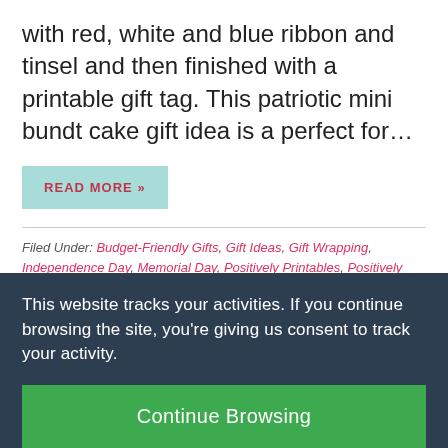with red, white and blue ribbon and tinsel and then finished with a printable gift tag. This patriotic mini bundt cake gift idea is a perfect for…
READ MORE »
Filed Under: Budget-Friendly Gifts, Gift Ideas, Gift Wrapping, Independence Day, Memorial Day, Positively Printables, Positively Seasons, Summer, Teacher
This website tracks your activities. If you continue browsing the site, you're giving us consent to track your activity.
Continue Browsing